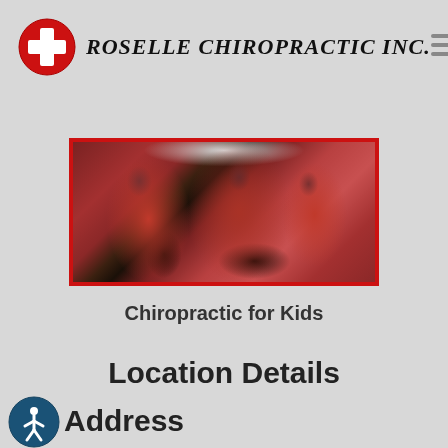ROSELLE CHIROPRACTIC INC.
[Figure (photo): Children running in red shirts, close-up of torsos and arms in motion, blurred action shot]
Chiropractic for Kids
Location Details
Address